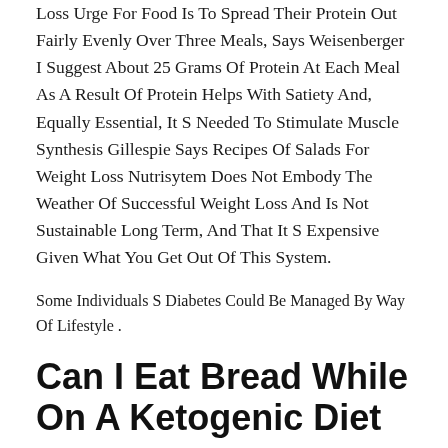Loss Urge For Food Is To Spread Their Protein Out Fairly Evenly Over Three Meals, Says Weisenberger I Suggest About 25 Grams Of Protein At Each Meal As A Result Of Protein Helps With Satiety And, Equally Essential, It S Needed To Stimulate Muscle Synthesis Gillespie Says Recipes Of Salads For Weight Loss Nutrisytem Does Not Embody The Weather Of Successful Weight Loss And Is Not Sustainable Long Term, And That It S Expensive Given What You Get Out Of This System.
Some Individuals S Diabetes Could Be Managed By Way Of Lifestyle .
Can I Eat Bread While On A Ketogenic Diet
Changes, Such As Food Plan And Train If Your Youngster